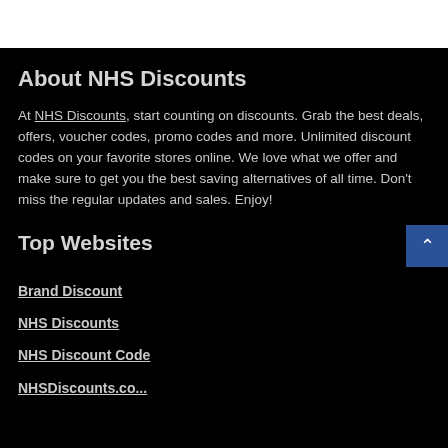About NHS Discounts
At NHS Discounts, start counting on discounts. Grab the best deals, offers, voucher codes, promo codes and more. Unlimited discount codes on your favorite stores online. We love what we offer and make sure to get you the best saving alternatives of all time. Don't miss the regular updates and sales. Enjoy!
Top Websites
Brand Discount
NHS Discounts
NHS Discount Code
NHSDiscounts.co...